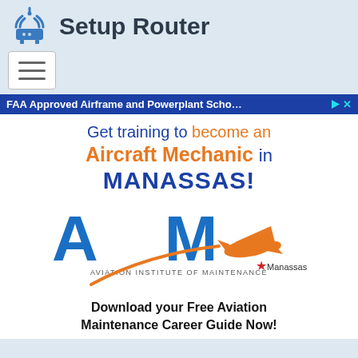Setup Router
[Figure (logo): Setup Router website logo with router icon and hamburger menu button]
[Figure (advertisement): FAA Approved Airframe and Powerplant School ad banner - Aviation Institute of Maintenance. Get training to become an Aircraft Mechanic in MANASSAS! AIM logo with orange airplane graphic and Manassas star location marker. Download your Free Aviation Maintenance Career Guide Now!]